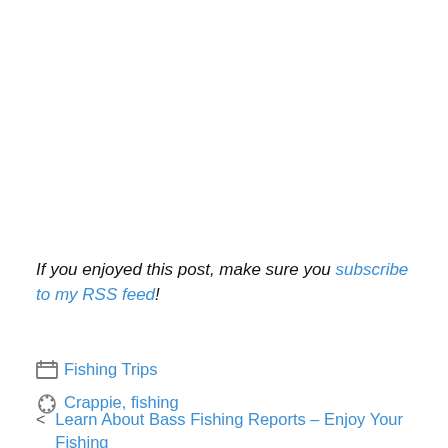If you enjoyed this post, make sure you subscribe to my RSS feed!
Fishing Trips
Crappie, fishing
< Learn About Bass Fishing Reports – Enjoy Your Fishing